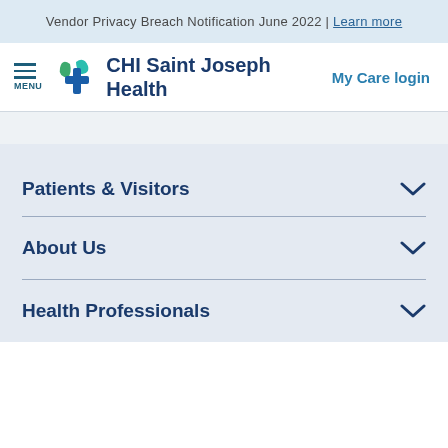Vendor Privacy Breach Notification June 2022 | Learn more
[Figure (logo): CHI Saint Joseph Health logo with green and teal cross icon]
My Care login
Patients & Visitors
About Us
Health Professionals